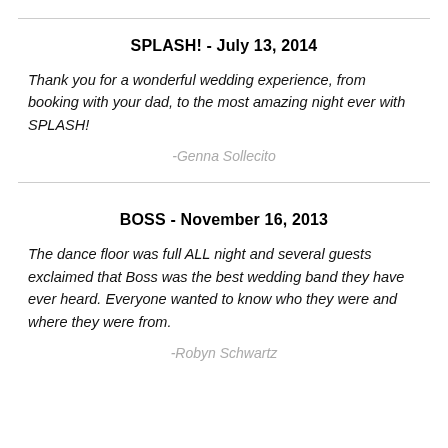SPLASH! - July 13, 2014
Thank you for a wonderful wedding experience, from booking with your dad, to the most amazing night ever with SPLASH!
-Genna Sollecito
BOSS - November 16, 2013
The dance floor was full ALL night and several guests exclaimed that Boss was the best wedding band they have ever heard. Everyone wanted to know who they were and where they were from.
-Robyn Schwartz